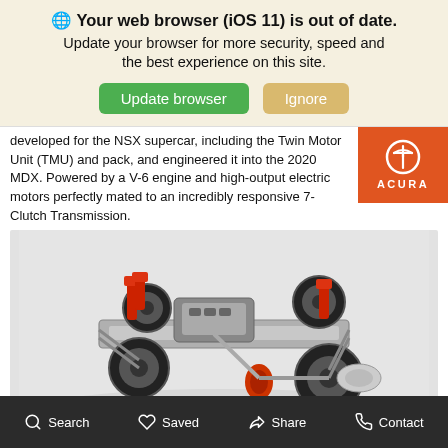🌐 Your web browser (iOS 11) is out of date. Update your browser for more security, speed and the best experience on this site.
developed for the NSX supercar, including the Twin Motor Unit (TMU) and pack, and engineered it into the 2020 MDX. Powered by a V-6 engine and high-output electric motors perfectly mated to an incredibly responsive 7-Clutch Transmission.
[Figure (photo): Acura MDX Sport Hybrid chassis and drivetrain cutaway view showing engine, suspension, wheels, and electric motor components]
Search  Saved  Share  Contact